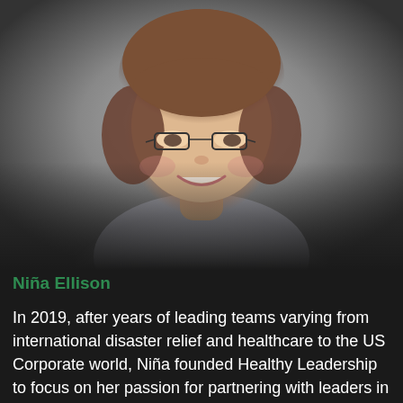[Figure (photo): Portrait photo of Niña Ellison, a woman with short brown hair wearing glasses and a floral-patterned top, smiling, against a dark grey vignette background.]
Niña Ellison
In 2019, after years of leading teams varying from international disaster relief and healthcare to the US Corporate world, Niña founded Healthy Leadership to focus on her passion for partnering with leaders in their growth and sustainability. Her own journey into